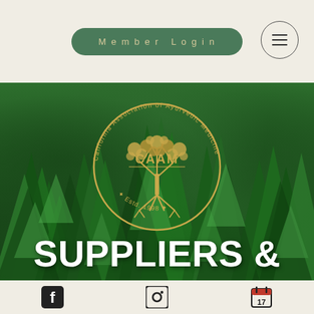Member Login
[Figure (logo): CAAM - California Association of Ayurvedic Medicine circular logo with tree and roots, gold color, Estd. 1998, overlaid on green forest/tree background with text SUPPLIERS & at bottom]
SUPPLIERS &
Facebook icon | Instagram icon | Calendar icon